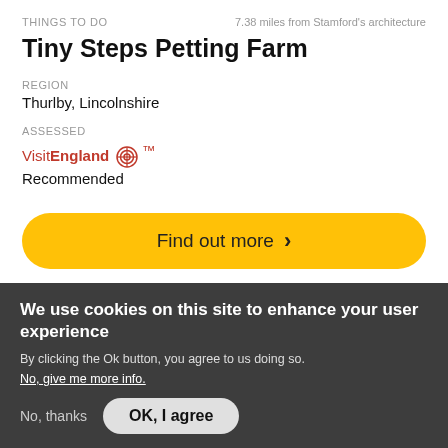THINGS TO DO   7.38 miles from Stamford's architecture
Tiny Steps Petting Farm
REGION
Thurlby, Lincolnshire
ASSESSED
VisitEngland® Recommended
Find out more ›
We use cookies on this site to enhance your user experience
By clicking the Ok button, you agree to us doing so.
No, give me more info.
No, thanks   OK, I agree